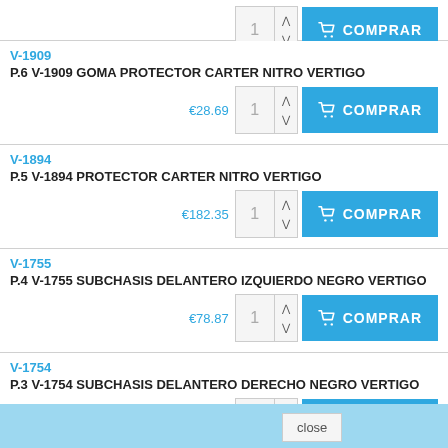V-1909
P.6 V-1909 GOMA PROTECTOR CARTER NITRO VERTIGO
€28.69
V-1894
P.5 V-1894 PROTECTOR CARTER NITRO VERTIGO
€182.35
V-1755
P.4 V-1755 SUBCHASIS DELANTERO IZQUIERDO NEGRO VERTIGO
€78.87
V-1754
P.3 V-1754 SUBCHASIS DELANTERO DERECHO NEGRO VERTIGO
€78.87